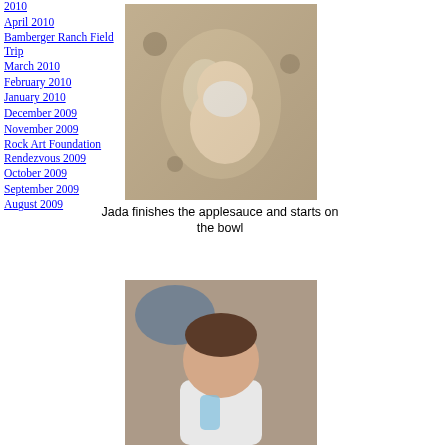2010
April 2010
Bamberger Ranch Field Trip
March 2010
February 2010
January 2010
December 2009
November 2009
Rock Art Foundation Rendezvous 2009
October 2009
September 2009
August 2009
[Figure (photo): Baby sitting on a patterned blanket, holding a white bowl to their mouth]
Jada finishes the applesauce and starts on the bowl
[Figure (photo): Baby with a pacifier in mouth, looking at the camera, holding a bottle]